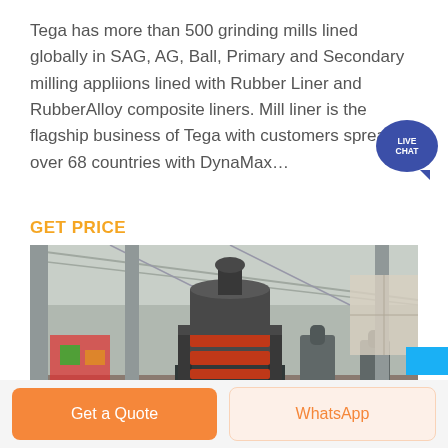Tega has more than 500 grinding mills lined globally in SAG, AG, Ball, Primary and Secondary milling appliions lined with Rubber Liner and RubberAlloy composite liners. Mill liner is the flagship business of Tega with customers spread over 68 countries with DynaMax…
GET PRICE
[Figure (photo): Industrial grinding mill machinery inside a large factory/warehouse building, with the machine in the foreground showing red and black sections, surrounded by gravel ground and additional machinery in the background.]
Get a Quote
WhatsApp